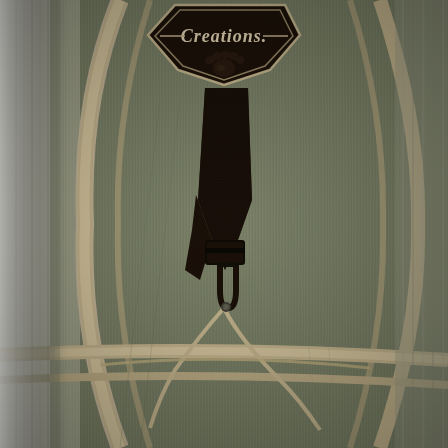[Figure (photo): Close-up photograph of an olive/tan green tactical or outdoor bag/pack. The bag features a textured nylon fabric with a diagonal ribbed pattern. A black embroidered patch near the top reads 'Creations' in script lettering with a bear paw print emblem below. A black nylon webbing strap/clip hardware (zipper pull or retention clip) is visible in the center, along with tan/beige zipper tape and cord running diagonally. The bag has curved seams with tan ribbon edging/trim.]